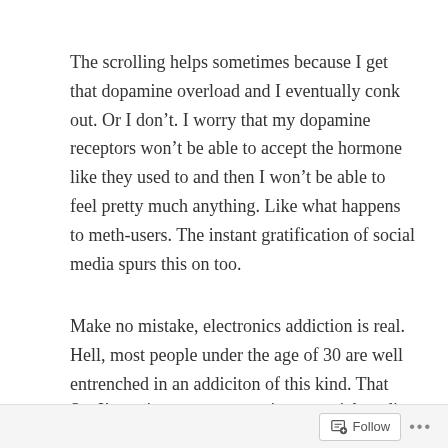The scrolling helps sometimes because I get that dopamine overload and I eventually conk out. Or I don’t. I worry that my dopamine receptors won’t be able to accept the hormone like they used to and then I won’t be able to feel pretty much anything. Like what happens to meth-users. The instant gratification of social media spurs this on too.
Make no mistake, electronics addiction is real. Hell, most people under the age of 30 are well entrenched in an addiciton of this kind. That and avocado toast.
So, I’m going to try to stymie my social media addiction. Facebook might be a little easier, since it has become
Follow •••